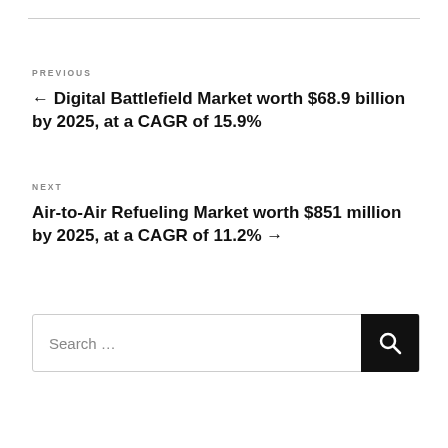PREVIOUS
← Digital Battlefield Market worth $68.9 billion by 2025, at a CAGR of 15.9%
NEXT
Air-to-Air Refueling Market worth $851 million by 2025, at a CAGR of 11.2% →